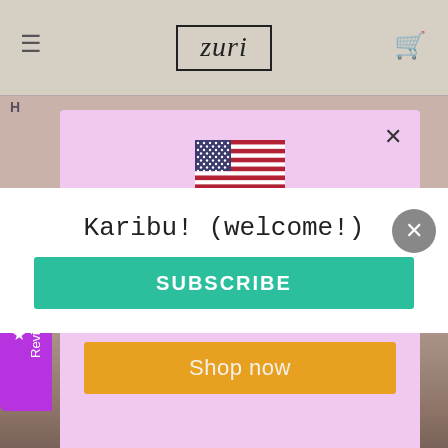[Figure (screenshot): Zuri e-commerce website screenshot showing navigation bar with hamburger menu, Zuri logo in bordered box, and shopping cart icon]
[Figure (screenshot): Purple modal popup on Zuri website showing US flag, text 'Zuri ships to United States', bullet points about USD shopping and shipping options, and an orange 'Shop now' button]
Zuri ships to United States
Shop in USD $
Get shipping options for United States
Shop now
Karibu! (welcome!)
SUBSCRIBE